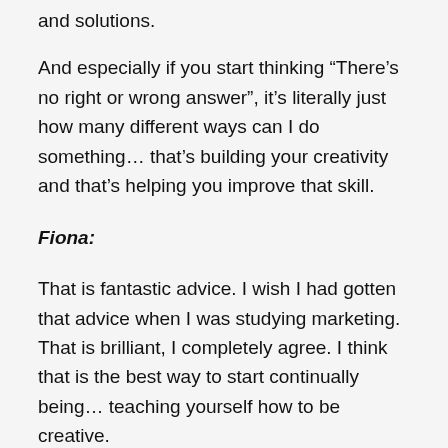and solutions.
And especially if you start thinking “There’s no right or wrong answer”, it’s literally just how many different ways can I do something… that’s building your creativity and that’s helping you improve that skill.
Fiona:
That is fantastic advice. I wish I had gotten that advice when I was studying marketing. That is brilliant, I completely agree. I think that is the best way to start continually being… teaching yourself how to be creative.